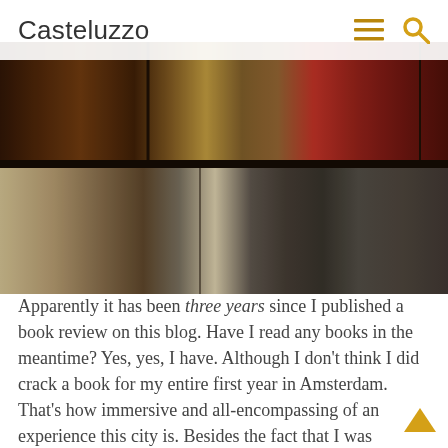Casteluzzo
[Figure (photo): A dollhouse or museum display showing miniature rooms across two floors. The upper floor shows elaborately furnished rooms including a bedroom with red curtains and a sitting room. The lower floor shows a kitchen and a stone-walled room with a fireplace.]
Apparently it has been three years since I published a book review on this blog. Have I read any books in the meantime? Yes, yes, I have. Although I don't think I did crack a book for my entire first year in Amsterdam. That's how immersive and all-encompassing of an experience this city is. Besides the fact that I was working full-time in a different time zone. I hope I never have to do that again.